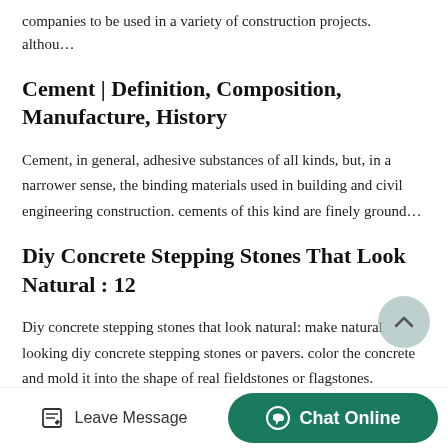companies to be used in a variety of construction projects. althou…
Cement | Definition, Composition, Manufacture, History
Cement, in general, adhesive substances of all kinds, but, in a narrower sense, the binding materials used in building and civil engineering construction. cements of this kind are finely ground…
Diy Concrete Stepping Stones That Look Natural : 12
Diy concrete stepping stones that look natural: make natural looking diy concrete stepping stones or pavers. color the concrete and mold it into the shape of real fieldstones or flagstones. finally…
Leave Message  Chat Online